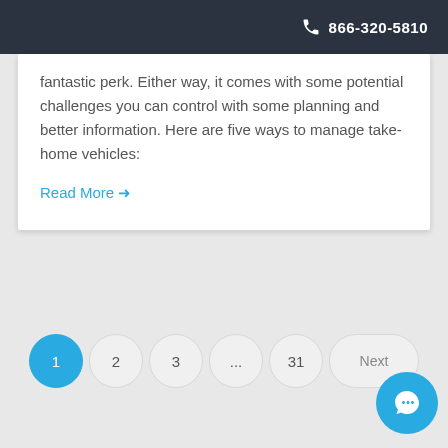866-320-5810
fantastic perk. Either way, it comes with some potential challenges you can control with some planning and better information. Here are five ways to manage take-home vehicles:
Read More →
1  2  3  ...  31  Next